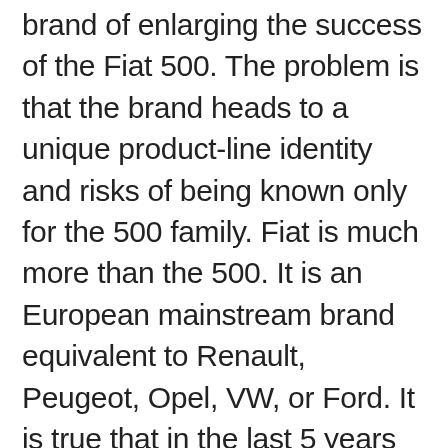brand of enlarging the success of the Fiat 500. The problem is that the brand heads to a unique product-line identity and risks of being known only for the 500 family. Fiat is much more than the 500. It is an European mainstream brand equivalent to Renault, Peugeot, Opel, VW, or Ford. It is true that in the last 5 years its range of cars has been dramatically reduced and now it doesn't offer any car in the D-segment, C-MPV, or not even a SW. But the brand can't limit all of its efforts in only one line of products. It is not possible that the presence of Fiat brand is limited to the success of the 500. For example, the brand's portal took the 500 family out of it and created a dedicated minisite for those looking for the city-car and its new MPV.